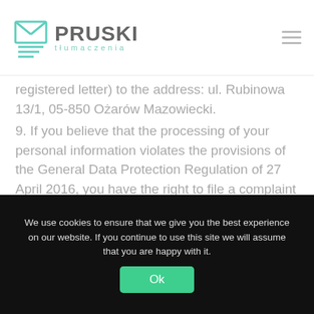PRUSKI tłumaczenia
registered letter) to the address: ul. Rubinowa 13/1, 05-850 Ożarów Mazowiecki.
9. If you believe that the processing of your personal information violates the provisions of the General Data Protection Regulation of 27 April 2016, you have the right to file a complaint to the GIODO supervisory authority (address: Generalny Inspektorat Ochrony Danych Osobowych, ul. Stawki 2, 00-193 Warsaw).
10. All comments, notifications and inquiries concerning your personal data should be sent to the
[Figure (other): Loading spinner circle, teal/green color, partially complete arc indicating loading state]
We use cookies to ensure that we give you the best experience on our website. If you continue to use this site we will assume that you are happy with it.
Ok